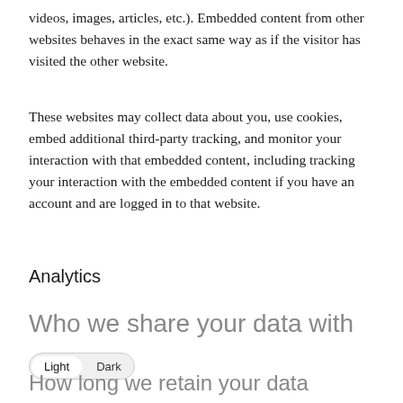videos, images, articles, etc.). Embedded content from other websites behaves in the exact same way as if the visitor has visited the other website.
These websites may collect data about you, use cookies, embed additional third-party tracking, and monitor your interaction with that embedded content, including tracking your interaction with the embedded content if you have an account and are logged in to that website.
Analytics
Who we share your data with
Light  Dark
How long we retain your data